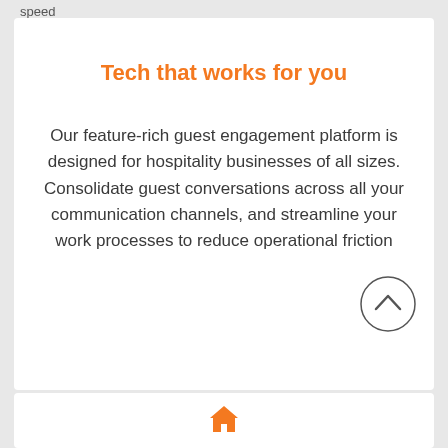speed
Tech that works for you
Our feature-rich guest engagement platform is designed for hospitality businesses of all sizes. Consolidate guest conversations across all your communication channels, and streamline your work processes to reduce operational friction
Achieve all this using one mobile optimised smart platform, without the hassle of an app.
[Figure (illustration): Home icon in orange at the bottom center of the page]